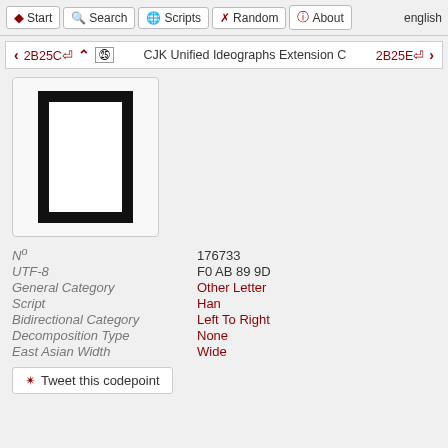Start  Search  Scripts  Random  About  english
< 2B25C↵  ^ ㉕ CJK Unified Ideographs Extension C  2B25E↵ >
[Figure (other): Glyph display box showing a CJK character rendered as a black rectangle outline (tall rectangle with thick black border) on white background]
| Nº | 176733 |
| UTF-8 | F0 AB 89 9D |
| General Category | Other Letter |
| Script | Han |
| Bidirectional Category | Left To Right |
| Decomposition Type | None |
| East Asian Width | Wide |
Tweet this codepoint